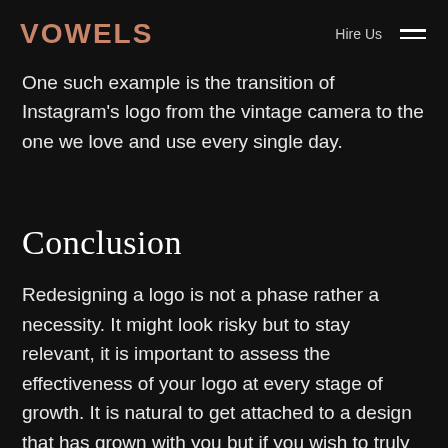VOWELS   Hire Us  ≡
One such example is the transition of Instagram's logo from the vintage camera to the one we love and use every single day.
Conclusion
Redesigning a logo is not a phase rather a necessity. It might look risky but to stay relevant, it is important to assess the effectiveness of your logo at every stage of growth. It is natural to get attached to a design that has grown with you but if you wish to truly represent